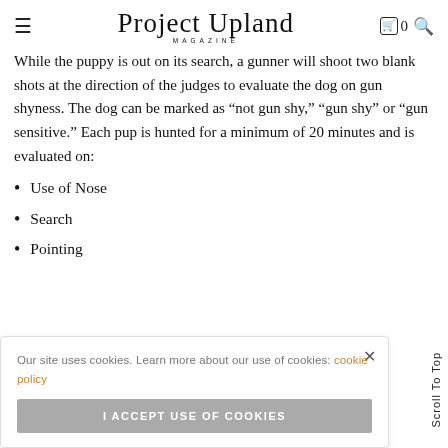Project Upland MAGAZINE
While the puppy is out on its search, a gunner will shoot two blank shots at the direction of the judges to evaluate the dog on gun shyness. The dog can be marked as “not gun shy,” “gun shy” or “gun sensitive.” Each pup is hunted for a minimum of 20 minutes and is evaluated on:
Use of Nose
Search
Pointing
Our site uses cookies. Learn more about our use of cookies: cookie policy
I ACCEPT USE OF COOKIES